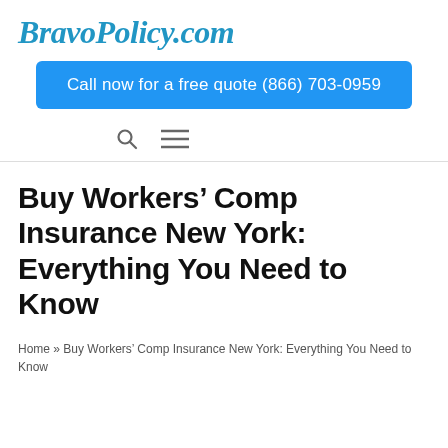BravoPolicy.com
Call now for a free quote (866) 703-0959
[Figure (illustration): Navigation icons: search magnifying glass and hamburger menu]
Buy Workers’ Comp Insurance New York: Everything You Need to Know
Home » Buy Workers’ Comp Insurance New York: Everything You Need to Know